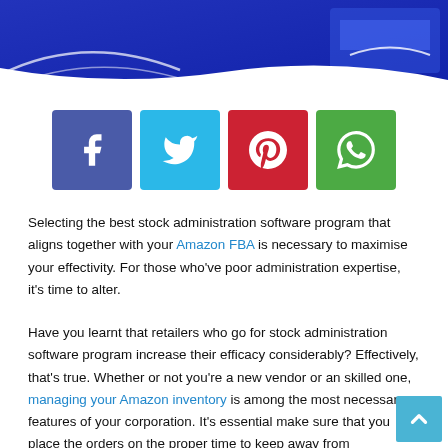[Figure (illustration): Blue banner/header with diagonal white lines and partial logo/text in top right corner]
[Figure (infographic): Row of four social share buttons: Facebook (dark blue), Twitter (light blue), Pinterest (red), WhatsApp (green)]
Selecting the best stock administration software program that aligns together with your Amazon FBA is necessary to maximise your effectivity. For those who've poor administration expertise, it's time to alter.
Have you learnt that retailers who go for stock administration software program increase their efficacy considerably? Effectively, that's true. Whether or not you're a new vendor or an skilled one, managing your Amazon inventory is among the most necessary features of your corporation. It's essential make sure that you place the orders on the proper time to keep away from overstocking and understocking points as